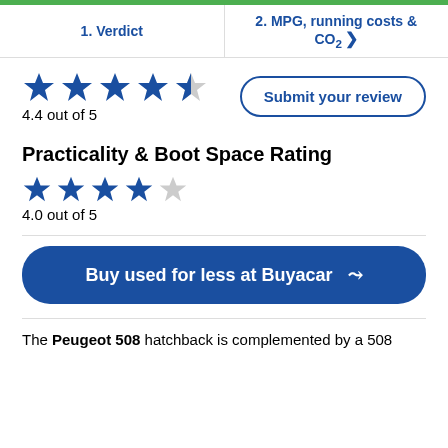1. Verdict  |  2. MPG, running costs & CO2 >
[Figure (other): Star rating: 4.4 out of 5 stars (4 filled blue stars, 1 partial star)]
4.4 out of 5
Submit your review
Practicality & Boot Space Rating
[Figure (other): Star rating: 4.0 out of 5 stars (4 filled blue stars, 1 empty star)]
4.0 out of 5
Buy used for less at Buyacar ↗
The Peugeot 508 hatchback is complemented by a 508